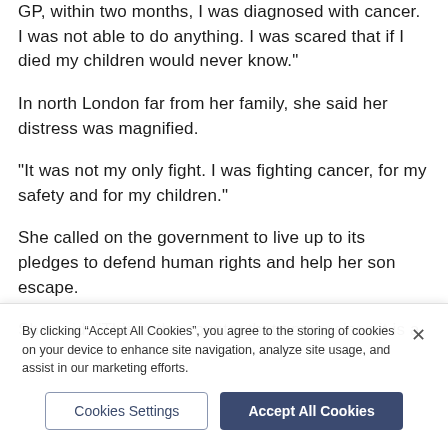GP, within two months, I was diagnosed with cancer. I was not able to do anything. I was scared that if I died my children would never know."
In north London far from her family, she said her distress was magnified.
"It was not my only fight. I was fighting cancer, for my safety and for my children."
She called on the government to live up to its pledges to defend human rights and help her son escape.
She said: "This is the country that emphasises it is a
By clicking “Accept All Cookies”, you agree to the storing of cookies on your device to enhance site navigation, analyze site usage, and assist in our marketing efforts.
Cookies Settings
Accept All Cookies